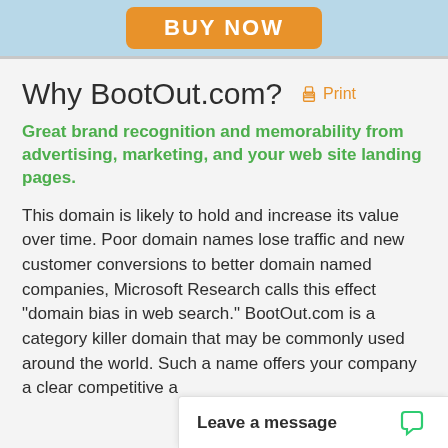[Figure (other): Orange BUY NOW button on light blue header bar]
Why BootOut.com?  Print
Great brand recognition and memorability from advertising, marketing, and your web site landing pages.
This domain is likely to hold and increase its value over time. Poor domain names lose traffic and new customer conversions to better domain named companies, Microsoft Research calls this effect "domain bias in web search." BootOut.com is a category killer domain that may be commonly used around the world. Such a name offers your company a clear competitive a
Leave a message